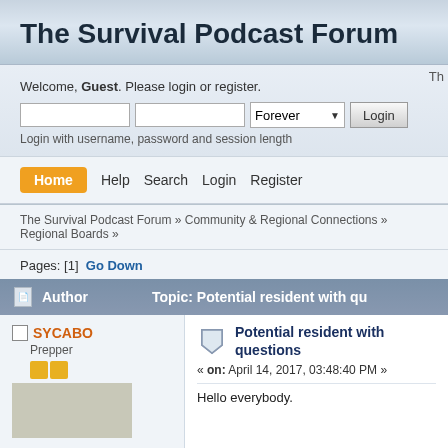The Survival Podcast Forum
Welcome, Guest. Please login or register.
Login with username, password and session length
Th
Home  Help  Search  Login  Register
The Survival Podcast Forum » Community & Regional Connections » Regional Boards »
Pages: [1]  Go Down
| Author | Topic: Potential resident with q... |
| --- | --- |
| SYCABO
Prepper | Potential resident with questions
« on: April 14, 2017, 03:48:40 PM »
Hello everybody. |